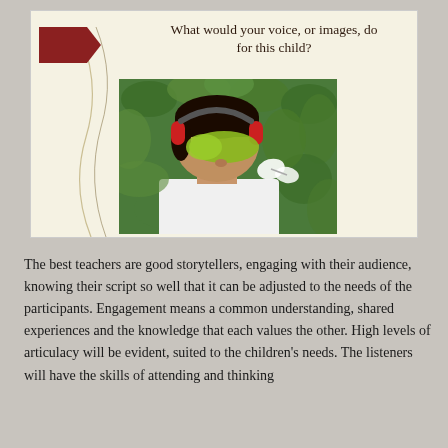[Figure (other): Presentation slide with a dark red arrow on the left, title text 'What would your voice, or images, do for this child?' centered at top, and a photo of a child wearing red headphones and a green sleep mask, leaning toward green foliage with a white butterfly.]
The best teachers are good storytellers, engaging with their audience, knowing their script so well that it can be adjusted to the needs of the participants. Engagement means a common understanding, shared experiences and the knowledge that each values the other. High levels of articulacy will be evident, suited to the children's needs. The listeners will have the skills of attending and thinking